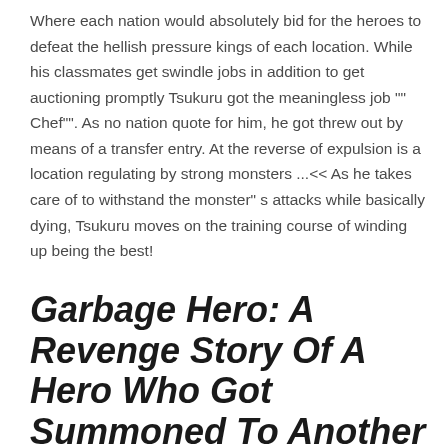Where each nation would absolutely bid for the heroes to defeat the hellish pressure kings of each location. While his classmates get swindle jobs in addition to get auctioning promptly Tsukuru got the meaningless job "" Chef"". As no nation quote for him, he got threw out by means of a transfer entry. At the reverse of expulsion is a location regulating by strong monsters ...&lt;&lt; As he takes care of to withstand the monster" s attacks while basically dying, Tsukuru moves on the training course of winding up being the best!
Garbage Hero: A Revenge Story Of A Hero Who Got Summoned To Another World brief description: